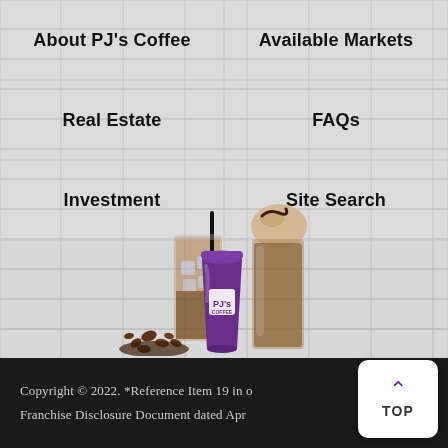About PJ's Coffee
Available Markets
Real Estate
FAQs
Investment
Site Search
[Figure (photo): PJ's Coffee branded cups and drinks: iced coffee, a purple PJ's Coffee cup, and a blended frozen coffee drink, with scattered coffee beans in the foreground]
Copyright © 2022. *Reference Item 19 in o... Franchise Disclosure Document dated Apr...
TOP